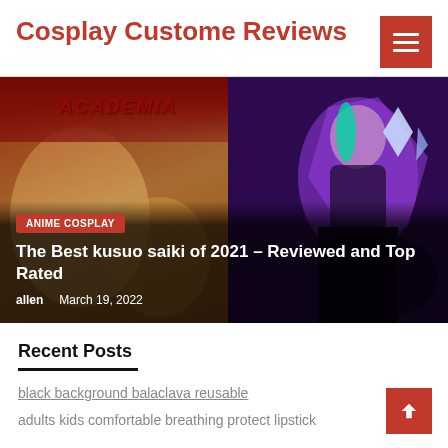Cosplay Custome Reviews
[Figure (photo): Hero slider showing two cosplay images side by side: left shows anime/manga style characters with ACADEMIA text overlay, right shows a League of Legends style cosplay character in purple/dark tones. Overlay shows ANIME COSPLAY badge, title, author and date.]
The Best kusuo saiki of 2021 – Reviewed and Top Rated
allen   March 19, 2022
Recent Posts
black background balaclava reusable
adults kids comfortable breathing protect lipstick